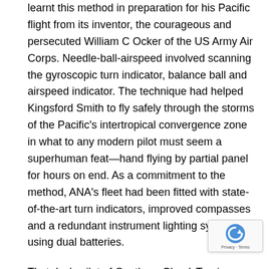learnt this method in preparation for his Pacific flight from its inventor, the courageous and persecuted William C Ocker of the US Army Air Corps. Needle-ball-airspeed involved scanning the gyroscopic turn indicator, balance ball and airspeed indicator. The technique had helped Kingsford Smith to fly safely through the storms of the Pacific's intertropical convergence zone in what to any modern pilot must seem a superhuman feat—hand flying by partial panel for hours on end. As a commitment to the method, ANA's fleet had been fitted with state-of-the-art turn indicators, improved compasses and a redundant instrument lighting system using dual batteries.
That day's pilot of Southern Cloud, Travis Shortridge, was an able practitioner of this new art. Macarthur Job, author and former editor of Aviation Safety Digest, rediscovered a article Shortridge had written for Slipstream magazine in 1933 and was impressed by what he read. 'Any experienced pilot